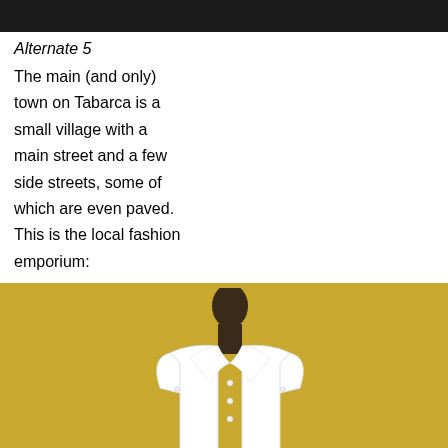[Figure (photo): Top portion of a photo, dark tones, cropped at top]
Alternate 5
The main (and only) town on Tabarca is a small village with a main street and a few side streets, some of which are even paved. This is the local fashion emporium:
[Figure (photo): A white short-sleeve button-up blouse on a dark mannequin bust, against a yellow/gold background]
week 23: end of enforced vacation
week 24: before hogueras
week 25: la cremá
week 26: bassetts and beach
week 27: summer and back to warsaw
week 28: beach and boobs
week 29: human traffic
week 30: trees, dogs and good deeds
week 31: barren landscapes and ruins
week 32: vineyards, beach and cycling
week 33: poultry and beach
week 34: el campello and the mercado
week 35: busot, goats, fish and cats
week 36: france, alicante and rain
week 37: brighton
week 38: autumn begins
week 39: alabici
week 40: mountains and brussels
week 41: moros y